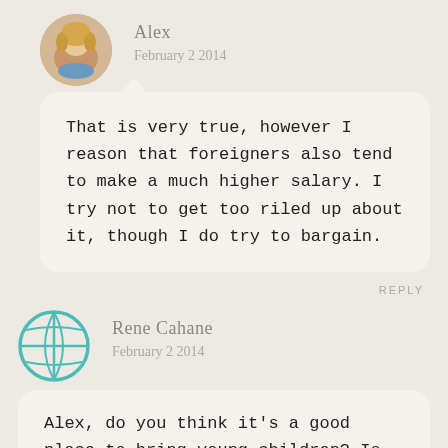Alex
February 2 2014
That is very true, however I reason that foreigners also tend to make a much higher salary. I try not to get too riled up about it, though I do try to bargain.
REPLY
[Figure (illustration): Globe/world icon in teal color, used as avatar for Rene Cahane]
Rene Cahane
February 2 2014
Alex, do you think it’s a good place to bring young children? Is the…